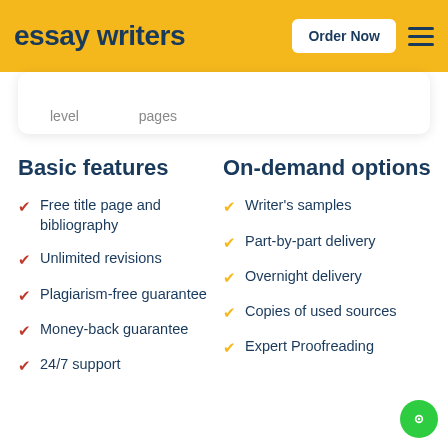essay writers | Order Now
level   pages
Basic features
Free title page and bibliography
Unlimited revisions
Plagiarism-free guarantee
Money-back guarantee
24/7 support
On-demand options
Writer's samples
Part-by-part delivery
Overnight delivery
Copies of used sources
Expert Proofreading